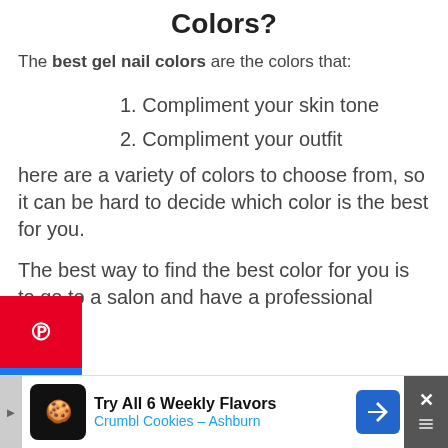Colors?
The best gel nail colors are the colors that:
1. Compliment your skin tone
2. Compliment your outfit
There are a variety of colors to choose from, so it can be hard to decide which color is the best for you.
The best way to find the best color for you is to go to a salon and have a professional he...